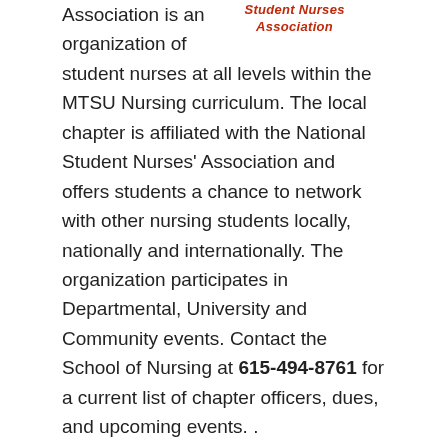Association is an organization of student nurses at all levels within the MTSU Nursing curriculum. The local chapter is affiliated with the National Student Nurses' Association and offers students a chance to network with other nursing students locally, nationally and internationally. The organization participates in Departmental, University and Community events. Contact the School of Nursing at 615-494-8761 for a current list of chapter officers, dues, and upcoming events. .
[Figure (other): Student Nurses Association logo/title text in red italic bold]
Student Activities
MTSU nursing students become “guardians of the community” at Nashville shelter
MTSU School of Nursing collects shoes for heart